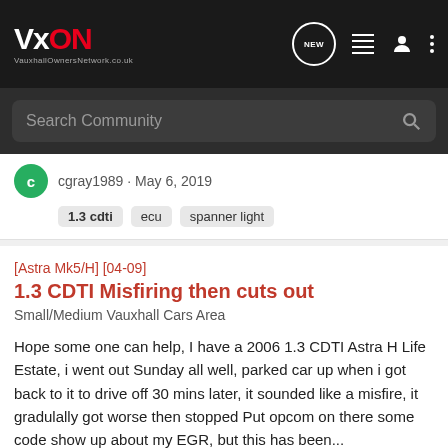VxON VauxhallOwnersNetwork.co.uk
Search Community
cgray1989 · May 6, 2019
Tags: 1.3 cdti, ecu, spanner light
[Astra Mk5/H] [04-09] 1.3 CDTI Misfiring then cuts out
Small/Medium Vauxhall Cars Area
Hope some one can help, I have a 2006 1.3 CDTI Astra H Life Estate, i went out Sunday all well, parked car up when i got back to it to drive off 30 mins later, it sounded like a misfire, it gradulally got worse then stopped Put opcom on there some code show up about my EGR, but this has been...
💬 11   👁 2K
dylanbatt74 · Jul 16, 2018